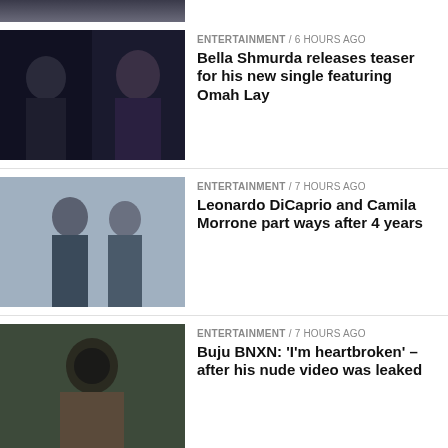[Figure (photo): Partial top thumbnail, cropped]
ENTERTAINMENT / 6 hours ago
Bella Shmurda releases teaser for his new single featuring Omah Lay
ENTERTAINMENT / 7 hours ago
Leonardo DiCaprio and Camila Morrone part ways after 4 years
ENTERTAINMENT / 7 hours ago
Buju BNXN: 'I'm heartbroken' – after his nude video was leaked
HOROSCOPE / 7 hours ago
Your daily horoscope for Wednesday, August 31, 2022
ENTERTAINMENT / 12 hours ago
Oscars Award: Chris Rock, Turns Down Offer To Host 2023